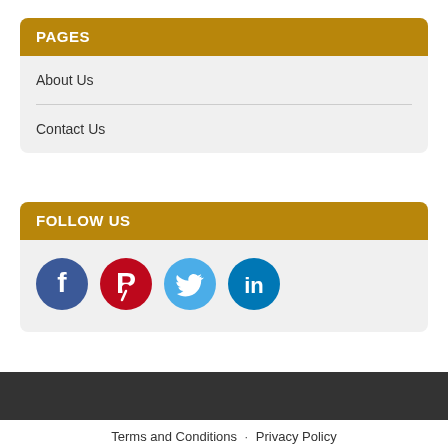PAGES
About Us
Contact Us
FOLLOW US
[Figure (illustration): Social media icons: Facebook (blue circle with f), Pinterest (red circle with P), Twitter (light blue circle with bird), LinkedIn (blue circle with in)]
Terms and Conditions · Privacy Policy